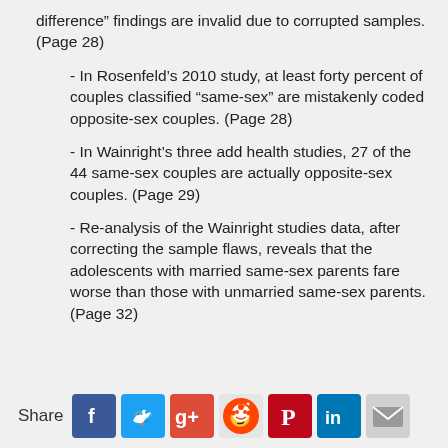difference” findings are invalid due to corrupted samples. (Page 28)
- In Rosenfeld’s 2010 study, at least forty percent of couples classified “same-sex” are mistakenly coded opposite-sex couples. (Page 28)
- In Wainright’s three add health studies, 27 of the 44 same-sex couples are actually opposite-sex couples. (Page 29)
- Re-analysis of the Wainright studies data, after correcting the sample flaws, reveals that the adolescents with married same-sex parents fare worse than those with unmarried same-sex parents. (Page 32)